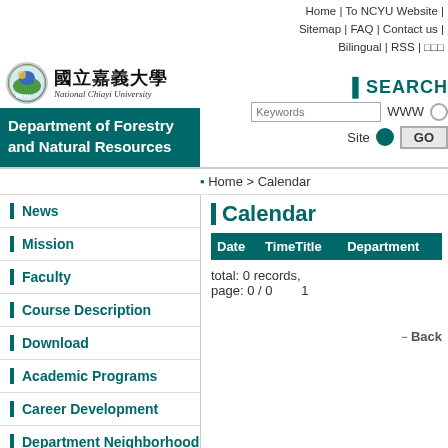Home | To NCYU Website | Sitemap | FAQ | Contact us | Bilingual | RSS | □□□
[Figure (logo): National Chiayi University logo with Chinese characters 國立嘉義大學 and English name National Chiayi University]
Department of Forestry and Natural Resources
Home > Calendar
News
Mission
Faculty
Course Description
Download
Academic Programs
Career Development
Department Neighborhood
Admission of International Students
Calendar
| Date | Time | Title | Department |
| --- | --- | --- | --- |
total: 0 records, page: 0 / 0     1
－Back